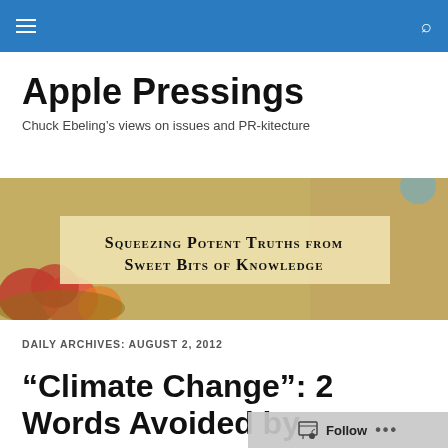Apple Pressings — navigation bar
Apple Pressings
Chuck Ebeling’s views on issues and PR-kitecture
[Figure (photo): Hero banner image with apples in background and text overlay reading: Squeezing Potent Truths from Sweet Bits of Knowledge]
DAILY ARCHIVES: AUGUST 2, 2012
“Climate Change”: 2 Words Avoided by Presidential